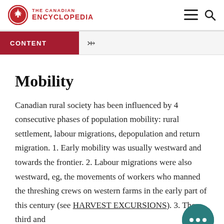THE CANADIAN ENCYCLOPEDIA
CONTENT
Mobility
Canadian rural society has been influenced by 4 consecutive phases of population mobility: rural settlement, labour migrations, depopulation and return migration. 1. Early mobility was usually westward and towards the frontier. 2. Labour migrations were also westward, eg, the movements of workers who manned the threshing crews on western farms in the early part of this century (see HARVEST EXCURSIONS). 3. The third and